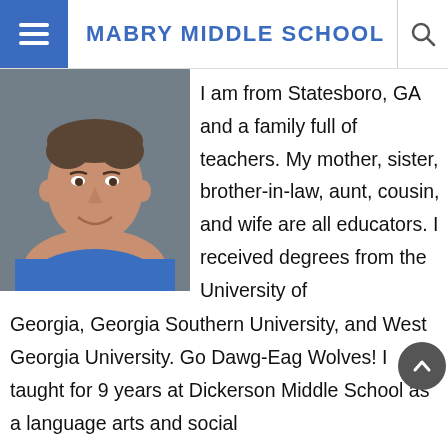MABRY MIDDLE SCHOOL
[Figure (photo): Headshot of a man in a blue polo shirt smiling, with a grey background]
I am from Statesboro, GA and a family full of teachers. My mother, sister, brother-in-law, aunt, cousin, and wife are all educators. I received degrees from the University of Georgia, Georgia Southern University, and West Georgia University. Go Dawg-Eag Wolves! I taught for 9 years at Dickerson Middle School as a language arts and social